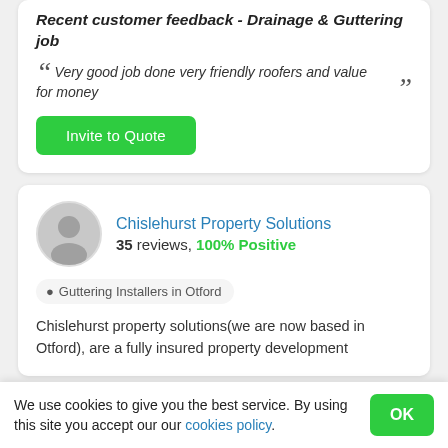Recent customer feedback - Drainage & Guttering job
Very good job done very friendly roofers and value for money
Invite to Quote
Chislehurst Property Solutions
35 reviews, 100% Positive
Guttering Installers in Otford
Chislehurst property solutions(we are now based in Otford), are a fully insured property development
We use cookies to give you the best service. By using this site you accept our our cookies policy.